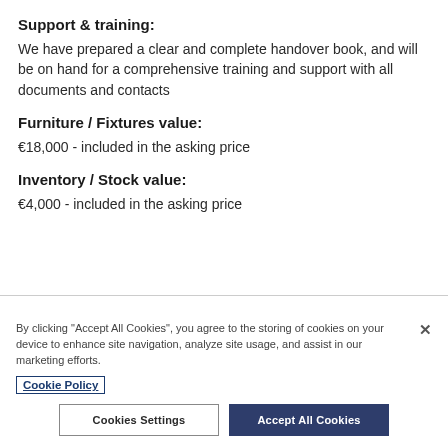Support & training:
We have prepared a clear and complete handover book, and will be on hand for a comprehensive training and support with all documents and contacts
Furniture / Fixtures value:
€18,000 - included in the asking price
Inventory / Stock value:
€4,000 - included in the asking price
By clicking "Accept All Cookies", you agree to the storing of cookies on your device to enhance site navigation, analyze site usage, and assist in our marketing efforts.
Cookie Policy
Cookies Settings | Accept All Cookies